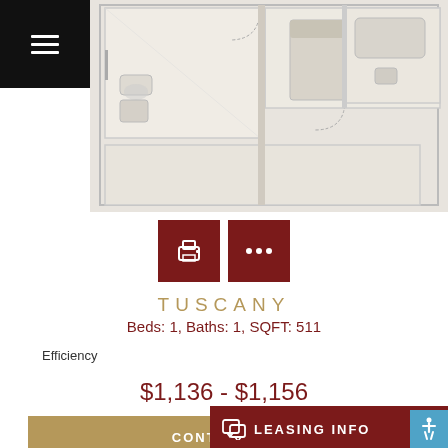[Figure (illustration): Apartment floor plan overhead view for Tuscany unit showing rooms, bathroom, kitchen, and bedroom layout with light beige/gray tones]
[Figure (other): Two dark red square icon buttons: a print icon and a more-options (ellipsis) icon]
TUSCANY
Beds: 1, Baths: 1, SQFT: 511
Efficiency
$1,136 - $1,156
CONTACT US
LEASING INFO